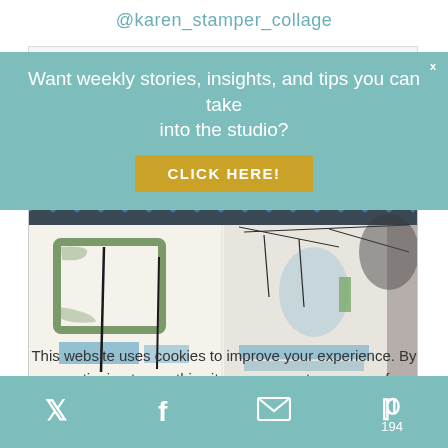@karen_stamper_collage
Want weekly stories, insights, and tips you can take into the studio?
CLICK HERE!
[Figure (illustration): Abstract mixed media artwork by Karen Stamper titled Farindola 4, featuring blue and grey abstract shapes on a white background with gestural marks]
Karen Stamper: Farindola 4
This website uses cookies to improve your experience. By continuing to use this site, you agree to our use of
Twitter icon | Facebook icon | Email icon | Pinterest icon 194